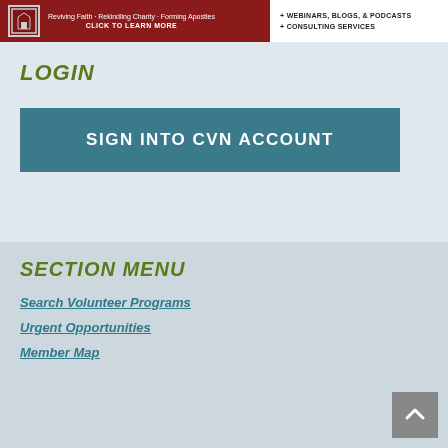[Figure (screenshot): Website banner with dark red left section containing logo/icon and text about Reviving Faith, Rekindling Charity, Forming Apostles with CLICK TO LEARN MORE, and white right section listing + WEBINARS, BLOGS, & PODCASTS and + CONSULTING SERVICES]
LOGIN
SIGN INTO CVN ACCOUNT
SECTION MENU
Search Volunteer Programs
Urgent Opportunities
Member Map